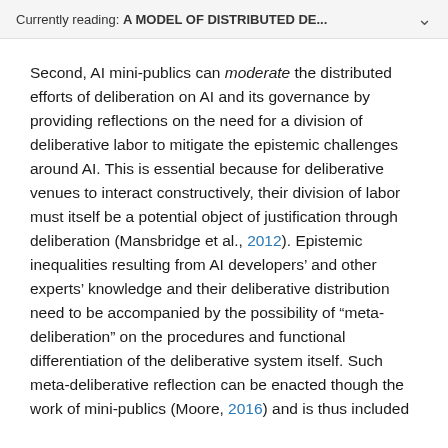Currently reading: A MODEL OF DISTRIBUTED DE...
Second, AI mini-publics can moderate the distributed efforts of deliberation on AI and its governance by providing reflections on the need for a division of deliberative labor to mitigate the epistemic challenges around AI. This is essential because for deliberative venues to interact constructively, their division of labor must itself be a potential object of justification through deliberation (Mansbridge et al., 2012). Epistemic inequalities resulting from AI developers' and other experts' knowledge and their deliberative distribution need to be accompanied by the possibility of “meta-deliberation” on the procedures and functional differentiation of the deliberative system itself. Such meta-deliberative reflection can be enacted though the work of mini-publics (Moore, 2016) and is thus included